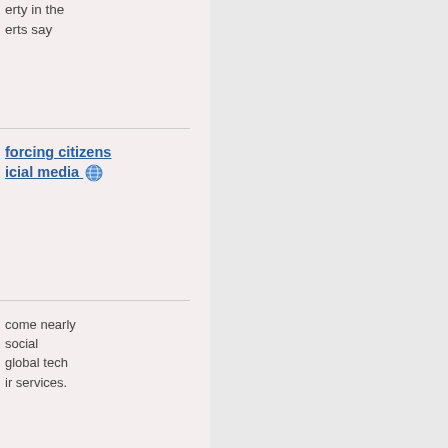erty in the erts say
forcing citizens icial media
come nearly social global tech ir services.
Facebook d access to arful ns they
e of digital to accurate As Moscow its invasion ried about
ous online